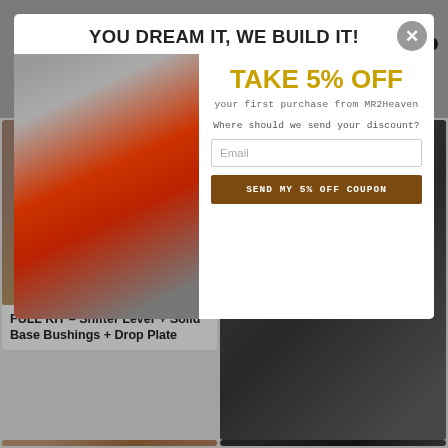MR2HEAVEN — Navigation header with hamburger menu, logo, search and cart icons
[Figure (screenshot): Product card: parts image (left column, top)]
FULL KIT - Shifter Lever + Solid Base Bushings + Drop Plate
[Figure (photo): Engine component photo (right column, top)]
[Figure (photo): Parts photo with currency selector showing USD flag (left column, bottom)]
[Figure (photo): Engine interior dark photo (right column, bottom)]
[Figure (screenshot): Popup modal: YOU DREAM IT, WE BUILD IT! - TAKE 5% OFF your first purchase from MR2Heaven. Email input and SEND MY 5% OFF COUPON button. Photo of red MR2 car.]